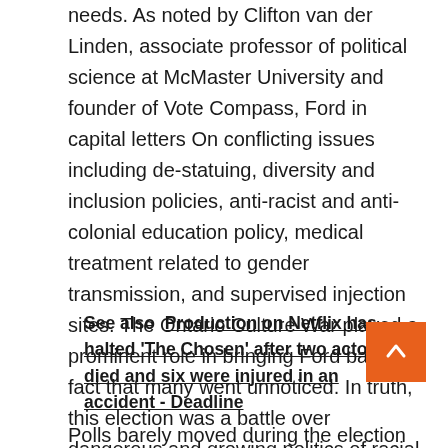needs. As noted by Clifton van der Linden, associate professor of political science at McMaster University and founder of Vote Compass, Ford in capital letters On conflicting issues including de-statuing, diversity and inclusion policies, anti-racist and anti-colonial education policy, medical treatment related to gender transmission, and supervised injection sites. The Ontario Culture War played a prominent role in bringing Ford back, a fact that many went unnoticed. In truth, this election was a battle over dangerous and growing politics of racial, class, and gender grievances.
See also  Production on Netflix has halted 'The Chosen' after two actors died and six were injured in an accident - Deadline
Polls barely moved during the election campaign